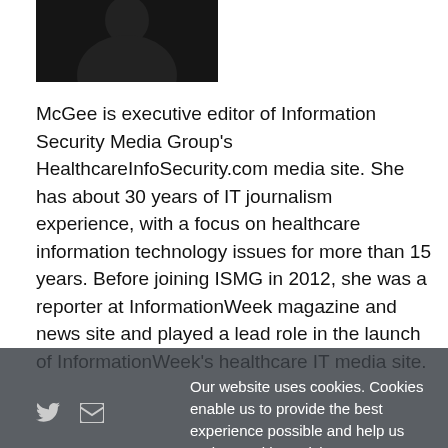[Figure (photo): Headshot photo of a person against dark background, top-left of page]
McGee is executive editor of Information Security Media Group's HealthcareInfoSecurity.com media site. She has about 30 years of IT journalism experience, with a focus on healthcare information technology issues for more than 15 years. Before joining ISMG in 2012, she was a reporter at InformationWeek magazine and news site and played a lead role in the launch of InformationWeek's healthcare IT media site.
Our website uses cookies. Cookies enable us to provide the best experience possible and help us understand how visitors use our website. By browsing healthcareinfosecurity.com, you agree to our use of cookies.
You might also be interested in ...